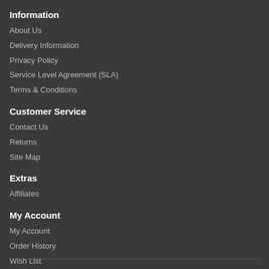Information
About Us
Delivery Information
Privacy Policy
Service Level Agreement (SLA)
Terms & Conditions
Customer Service
Contact Us
Returns
Site Map
Extras
Affiliates
My Account
My Account
Order History
Wish List
Newsletter